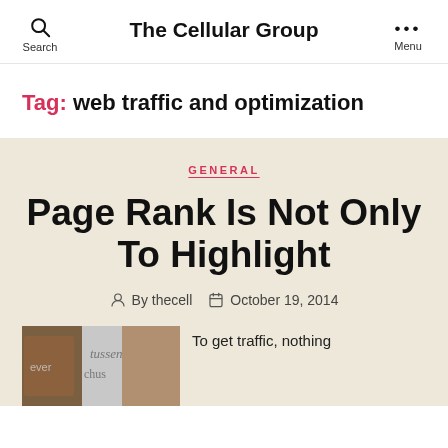Search | The Cellular Group | Menu
Tag: web traffic and optimization
GENERAL
Page Rank Is Not Only To Highlight
By thecell  October 19, 2014
To get traffic, nothing